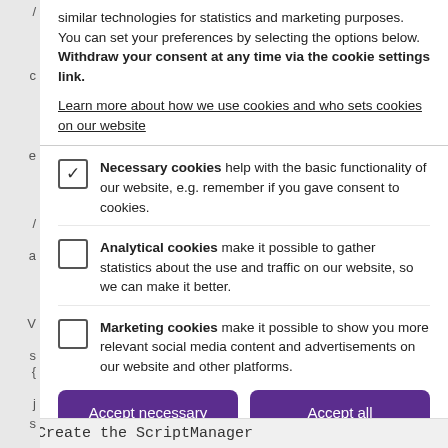similar technologies for statistics and marketing purposes. You can set your preferences by selecting the options below. Withdraw your consent at any time via the cookie settings link.
Learn more about how we use cookies and who sets cookies on our website
Necessary cookies help with the basic functionality of our website, e.g. remember if you gave consent to cookies.
Analytical cookies make it possible to gather statistics about the use and traffic on our website, so we can make it better.
Marketing cookies make it possible to show you more relevant social media content and advertisements on our website and other platforms.
Accept necessary | Accept all
// Create the ScriptManager